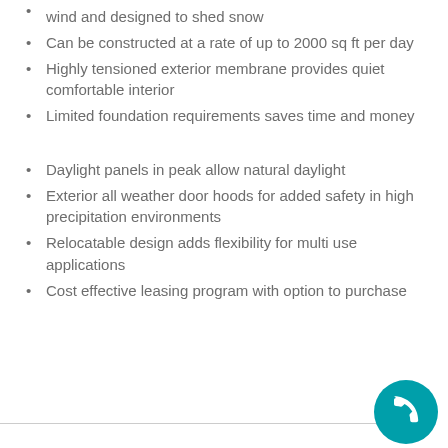wind and designed to shed snow
Can be constructed at a rate of up to 2000 sq ft per day
Highly tensioned exterior membrane provides quiet comfortable interior
Limited foundation requirements saves time and money
Daylight panels in peak allow natural daylight
Exterior all weather door hoods for added safety in high precipitation environments
Relocatable design adds flexibility for multi use applications
Cost effective leasing program with option to purchase